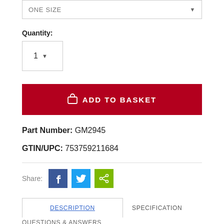ONE SIZE
Quantity:
1
ADD TO BASKET
Part Number: GM2945
GTIN/UPC: 753759211684
Share:
DESCRIPTION
SPECIFICATION
QUESTIONS & ANSWERS